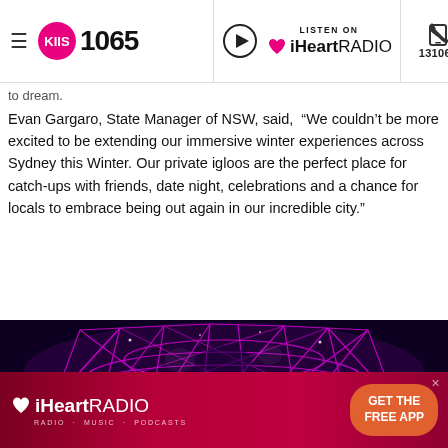KIIS 1065 | LISTEN ON iHeartRADIO | 131065
to dream.
Evan Gargaro, State Manager of NSW, said,  “We couldn’t be more excited to be extending our immersive winter experiences across Sydney this Winter. Our private igloos are the perfect place for catch-ups with friends, date night, celebrations and a chance for locals to embrace being out again in our incredible city.”
[Figure (photo): Interior view of an illuminated igloo with pink/purple geodesic structure against a dark night sky with fireworks or lights]
[Figure (infographic): iHeartRadio advertisement banner with GET THE FREE APP call to action button on red background]